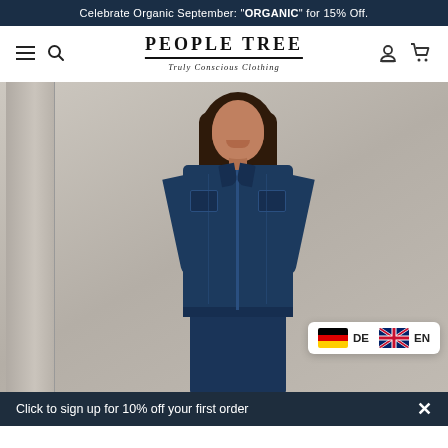Celebrate Organic September: "ORGANIC" for 15% Off.
[Figure (logo): People Tree logo with text 'Truly Conscious Clothing' and navigation icons including hamburger menu, search, user account, and shopping cart]
[Figure (photo): Model wearing a dark navy denim jumpsuit/jacket, smiling, posed against a grey/stone background with architectural column visible on left]
DE
EN
Click to sign up for 10% off your first order